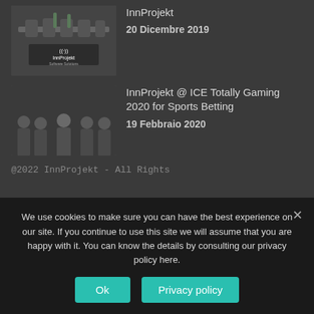[Figure (photo): Article thumbnail showing people seated at a dining table, InnProjekt logo overlay]
InnProjekt
20 Dicembre 2019
[Figure (photo): Article thumbnail showing five men in suits posing for a group photo]
InnProjekt @ ICE Totally Gaming 2020 for Sports Betting
19 Febbraio 2020
@2022 InnProjekt - All Rights
We use cookies to make sure you can have the best experience on our site. If you continue to use this site we will assume that you are happy with it. You can know the details by consulting our privacy policy here.
Ok
Privacy policy